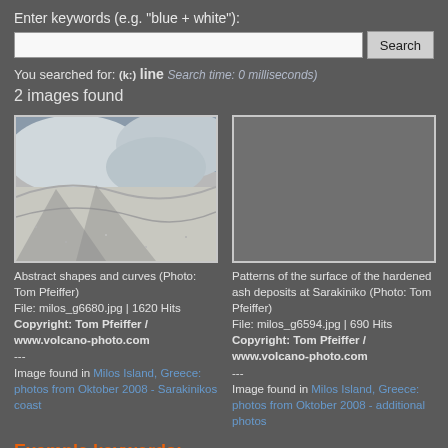Enter keywords (e.g. "blue + white"):
[Figure (screenshot): Search input box with Search button]
You searched for: (k:) line Search time: 0 milliseconds)
2 images found
[Figure (photo): Abstract shapes and curves photo - white rocky/sandy formations]
Abstract shapes and curves (Photo: Tom Pfeiffer)
File: milos_g6680.jpg | 1620 Hits
Copyright: Tom Pfeiffer / www.volcano-photo.com
---
Image found in Milos Island, Greece: photos from Oktober 2008 - Sarakinikos coast
[Figure (photo): Dark grey placeholder image for second search result]
Patterns of the surface of the hardened ash deposits at Sarakiniko (Photo: Tom Pfeiffer)
File: milos_g6594.jpg | 690 Hits
Copyright: Tom Pfeiffer / www.volcano-photo.com
---
Image found in Milos Island, Greece: photos from Oktober 2008 - additional photos
Example keywords:
bird